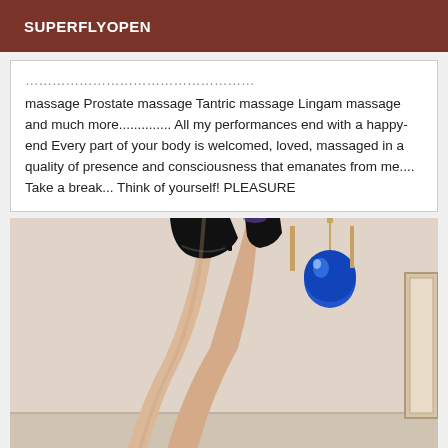SUPERFLYOPEN
massage Prostate massage Tantric massage Lingam massage and much more.............. All my performances end with a happy-end Every part of your body is welcomed, loved, massaged in a quality of presence and consciousness that emanates from me.... Take a break... Think of yourself! PLEASURE
[Figure (photo): Photo showing a person's legs raised up wearing black high heels, against a light-colored wall background with a decorative blue globe/ornament hanging and a picture frame visible on the right side.]